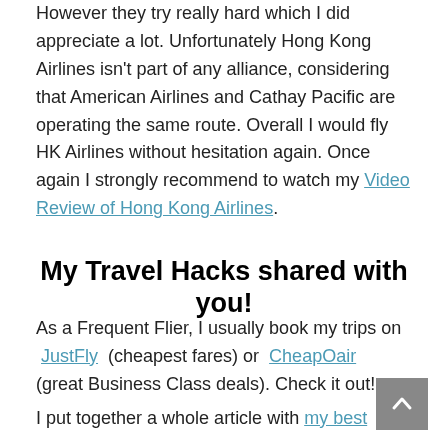However they try really hard which I did appreciate a lot. Unfortunately Hong Kong Airlines isn't part of any alliance, considering that American Airlines and Cathay Pacific are operating the same route. Overall I would fly HK Airlines without hesitation again. Once again I strongly recommend to watch my Video Review of Hong Kong Airlines.
My Travel Hacks shared with you!
As a Frequent Flier, I usually book my trips on JustFly (cheapest fares) or CheapOair (great Business Class deals). Check it out!
I put together a whole article with my best